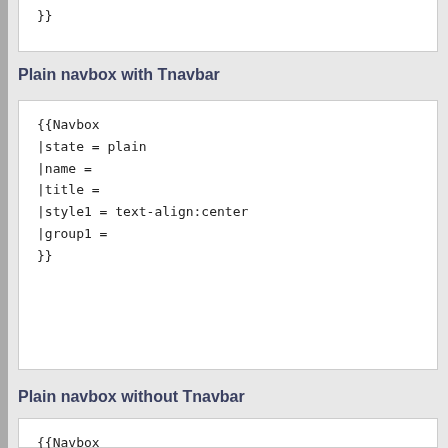}}
Plain navbox with Tnavbar
{{Navbox
|state = plain
|name =
|title =
|style1 = text-align:center
|group1 =
}}
Plain navbox without Tnavbar
{{Navbox
|state = plain
|title =